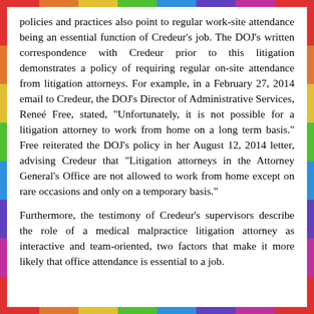policies and practices also point to regular work-site attendance being an essential function of Credeur's job. The DOJ's written correspondence with Credeur prior to this litigation demonstrates a policy of requiring regular on-site attendance from litigation attorneys. For example, in a February 27, 2014 email to Credeur, the DOJ's Director of Administrative Services, Reneé Free, stated, "Unfortunately, it is not possible for a litigation attorney to work from home on a long term basis." Free reiterated the DOJ's policy in her August 12, 2014 letter, advising Credeur that "Litigation attorneys in the Attorney General's Office are not allowed to work from home except on rare occasions and only on a temporary basis."
Furthermore, the testimony of Credeur's supervisors describe the role of a medical malpractice litigation attorney as interactive and team-oriented, two factors that make it more likely that office attendance is essential to a job.